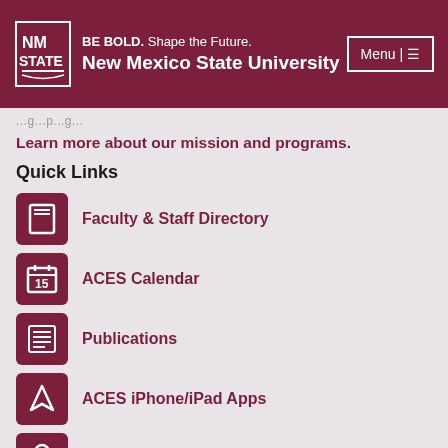BE BOLD. Shape the Future. New Mexico State University
Learn more about our mission and programs.
Quick Links
Faculty & Staff Directory
ACES Calendar
Publications
ACES iPhone/iPad Apps
Admissions
Connect With Us
Find us on social media.
Facebook